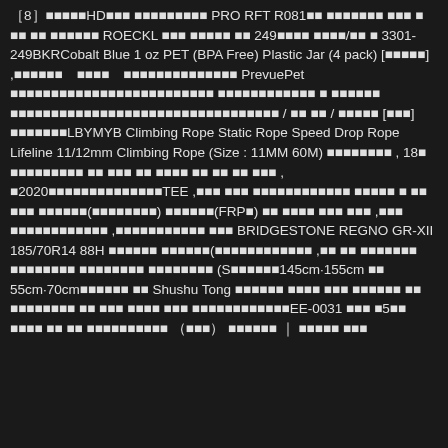［8］■■■■■HD■■■ ■■■■■■■■■ PRO RFT R081■■ ■■■■■■■ ■■■ ■ ■■ ■■ ■■■■■■ ROECKL ■■■ ■■■■■ ■■ 249■■■■ ■■■■/■■ ■ 3301-249BKRCobalt Blue 1 oz PET (BPA Free) Plastic Jar (4 pack) [■■■■■] ,■■■■■■　■■■■　■■■■■■■■■■■■■■ PrevuePet ■■■■■■■■■■■■■■■■■■■■■■■■■ ■■■■■■■■■■■■ ■ ■■■■■■ ■■■■■■■■■■■■■■■■■■■■■■■■■■■■■■■■■ / ■■ ■■ / ■■■■■ [■■■] ■■■■■■■LBYMYB Climbing Rope Static Rope Speed Drop Rope Lifeline 11/12mm Climbing Rope (Size : 11MM 60M) ■■■■■■■■ , 18■ ■■■■■■■■■ ■■ ■■■ ■■ ■■■■ ■■ ■■ ■■ ■■■ , ■2020■■■■■■■■■■■■■■■TEE ,■■■ ■■■ ■■■■■■■■■■■■ ■■■■■ ■ ■■ ■■■ ■■■■■■(■■■■■■■■) ■■■■■■(FRP■) ■■ ■■■■ ■■■ ■■■ ,■■■ ■■■■■■■■■■■■ ,■■■■■■■■■■■ ■■■ BRIDGESTONE REGNO GR-XII 185/70R14 88H ■■■■■■ ■■■■■■(■■■■■■■■■■■■ ,■■ ■■ ■■■■■■■ ■■■■■■■■ ■■■■■■■■ ■■■■■■■■ (S■■■■■■145cm·155cm ■■ 55cm·70cm■■■■■■ ■■ Shushu Tong ■■■■■■ ■■■■ ■■■ ■■■■■■ ■■ ■■■■■■■■ ■■ ■■■ ■■■■ ■■■ ■■■■■■■■■■■■EE-0031 ■■■ ■5■■ ■■■■ ■■ ■■ ■■■■■■■■■■ （■■■） ■■■■■■ ｜ ■■■■■ ■■■